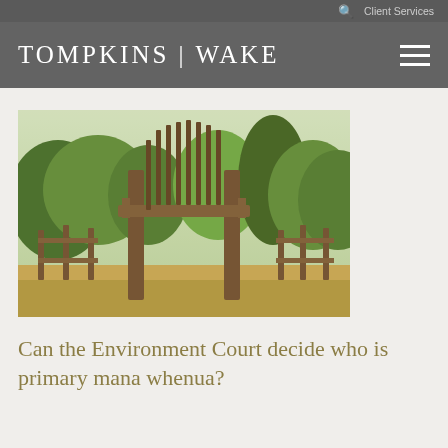Client Services
TOMPKINS | WAKE
[Figure (photo): A traditional Māori gateway/gate structure (palisade-style carved wooden posts) set in a green park landscape with trees in the background, photographed in warm golden light.]
Can the Environment Court decide who is primary mana whenua?